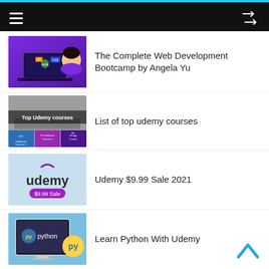[Figure (screenshot): Thumbnail for 'The Complete Web Development Bootcamp by Angela Yu' showing a laptop with node.js, CSS, API icons and a woman smiling, purple background]
The Complete Web Development Bootcamp by Angela Yu
[Figure (screenshot): Thumbnail for 'List of top udemy courses' showing a laptop keyboard with 'Top Udemy courses' overlay and category tiles: Development Courses, IT & Software Courses, Design Courses]
List of top udemy courses
[Figure (screenshot): Thumbnail for 'Udemy $9.99 Sale 2021' showing Udemy logo on light blue background with '$9.99 Sale' label]
Udemy $9.99 Sale 2021
[Figure (screenshot): Thumbnail for 'Learn Python With Udemy' showing a monitor with Python logo and text on blue background]
Learn Python With Udemy